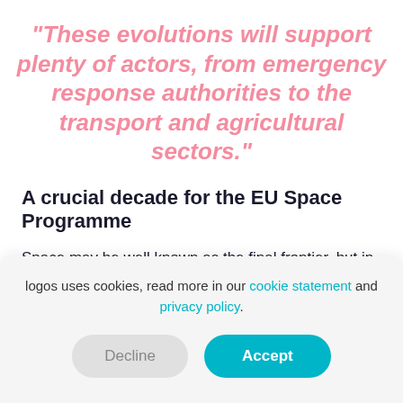"These evolutions will support plenty of actors, from emergency response authorities to the transport and agricultural sectors."
A crucial decade for the EU Space Programme
Space may be well known as the final frontier, but in the next decade, we can expect space to play an increasingly important role in our daily lives. With a renewed commitment to the existing flagship
logos uses cookies, read more in our cookie statement and privacy policy.